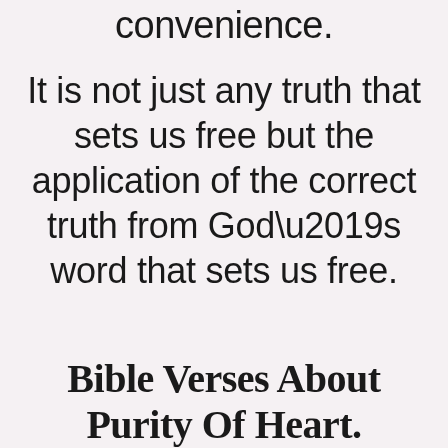convenience.
It is not just any truth that sets us free but the application of the correct truth from God’s word that sets us free.
Bible Verses About Purity Of Heart.